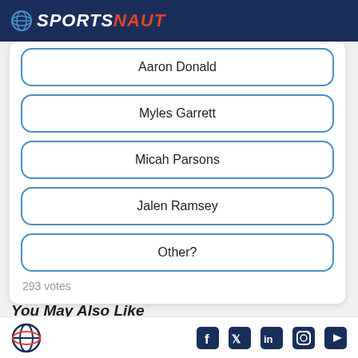SPORTSNAUT
Aaron Donald
Myles Garrett
Micah Parsons
Jalen Ramsey
Other?
293 votes
You May Also Like
Sportsnaut footer with social icons: Facebook, Twitter, LinkedIn, Instagram, YouTube